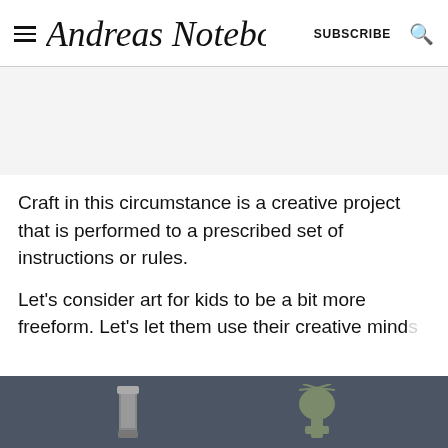Andreas Notebook — SUBSCRIBE
Craft in this circumstance is a creative project that is performed to a prescribed set of instructions or rules.
Let's consider art for kids to be a bit more freeform. Let's let them use their creative minds...to
[Figure (screenshot): Advertisement banner: REP YOUR HOME STATE with YETI cup image and deer logo, START CUSTOMIZING]